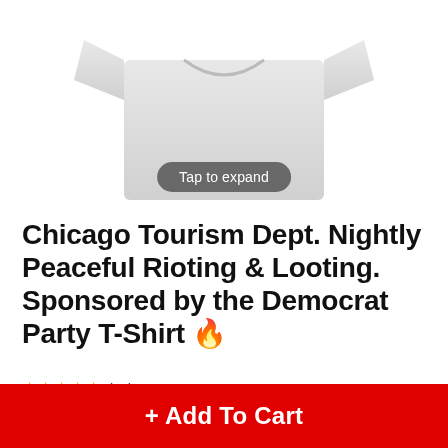[Figure (photo): Partial view of a white t-shirt with a 'Tap to expand' overlay button]
Chicago Tourism Dept. Nightly Peaceful Rioting & Looting. Sponsored by the Democrat Party T-Shirt 🔥
★★★★★ (11)
$29.95
[Figure (infographic): Yellow FREE SHIPPING badge with truck icon]
+ Add To Cart